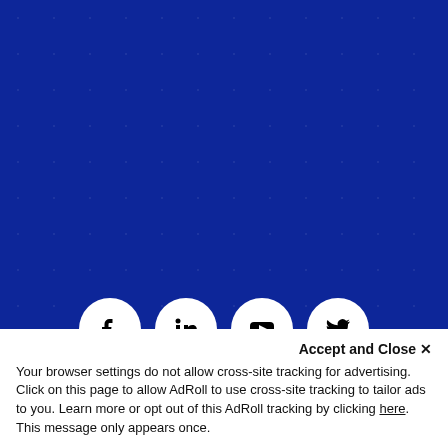[Figure (other): Email subscription bar with placeholder 'EMAIL ADDRESS' and a blue 'Subscribe' button on dark blue dotted background]
[Figure (other): Row of four social media icon circles: Facebook, LinkedIn, YouTube, Twitter]
SITEMAP
PRIVACY
LEGAL
SECURITY
Accept and Close ✕
Your browser settings do not allow cross-site tracking for advertising. Click on this page to allow AdRoll to use cross-site tracking to tailor ads to you. Learn more or opt out of this AdRoll tracking by clicking here. This message only appears once.